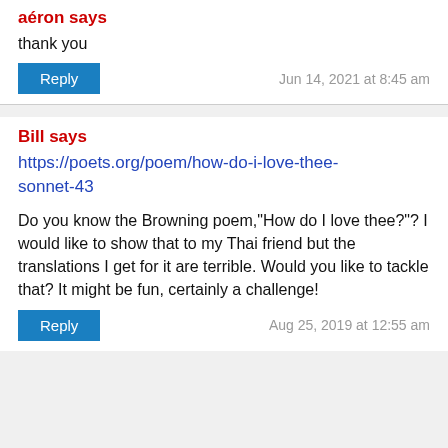aéron says
thank you
Reply   Jun 14, 2021 at 8:45 am
Bill says
https://poets.org/poem/how-do-i-love-thee-sonnet-43
Do you know the Browning poem,"How do I love thee?"? I would like to show that to my Thai friend but the translations I get for it are terrible. Would you like to tackle that? It might be fun, certainly a challenge!
Reply   Aug 25, 2019 at 12:55 am